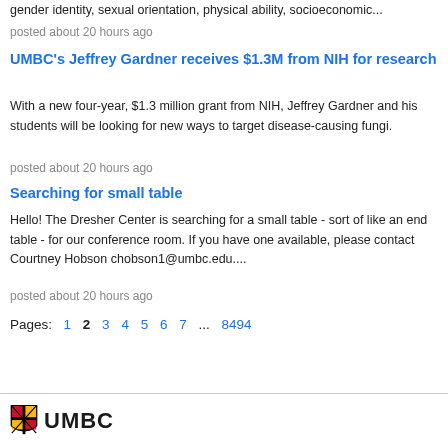gender identity, sexual orientation, physical ability, socioeconomic...
posted about 20 hours ago
UMBC's Jeffrey Gardner receives $1.3M from NIH for research
With a new four-year, $1.3 million grant from NIH, Jeffrey Gardner and his students will be looking for new ways to target disease-causing fungi.
posted about 20 hours ago
Searching for small table
Hello! The Dresher Center is searching for a small table - sort of like an end table - for our conference room. If you have one available, please contact Courtney Hobson chobson1@umbc.edu....
posted about 20 hours ago
Pages: 1 2 3 4 5 6 7 ... 8494
[Figure (logo): UMBC shield logo and UMBC wordmark]